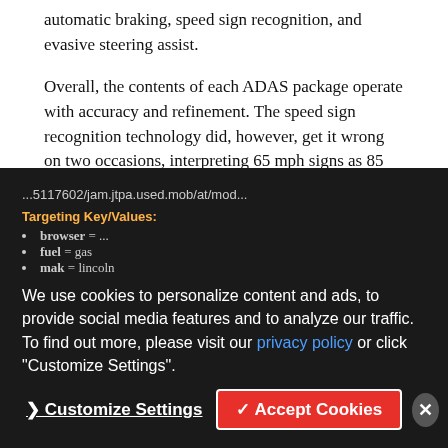automatic braking, speed sign recognition, and evasive steering assist.
Overall, the contents of each ADAS package operate with accuracy and refinement. The speed sign recognition technology did, however, get it wrong on two occasions, interpreting 65 mph signs as 85 mph. In response to this, the adaptive cruise control began rapidly accelerating the Corsair, forcing me to shut the system off.
Active Park Assist Plus is also available for the Corsair, and it’s an impressive system. When activated, it identifies properly sized parallel and perpendicular parking spaces and takes control of the steering, transmission, brakes, and accelerator. Basically, the driver sits there, monitoring the proceedings, while the technology parks the SUV.
We use cookies to personalize content and ads, to provide social media features and to analyze our traffic. To find out more, please visit our privacy policy or click "Customize Settings".